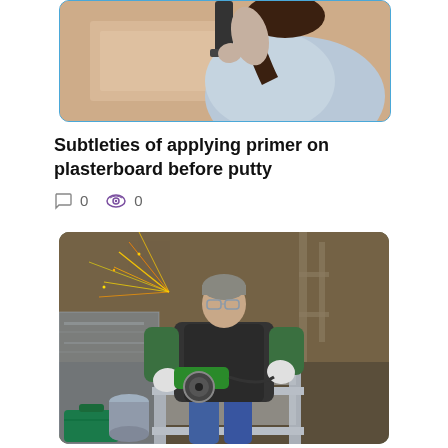[Figure (photo): Woman applying primer or plaster to a wall with a tool, viewed from behind, partial crop at top of page]
Subtleties of applying primer on plasterboard before putty
0  0
[Figure (photo): Man wearing safety glasses and gloves using an angle grinder on a metal shelving unit in a workshop/construction setting with sparks flying]